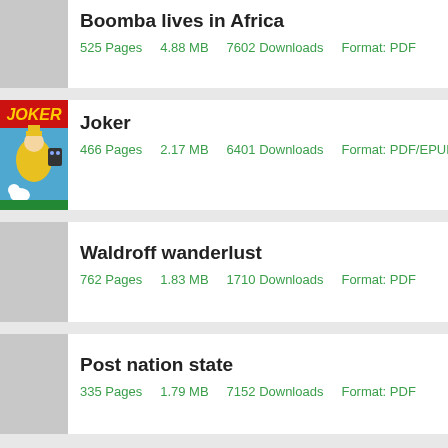Boomba lives in Africa
525 Pages    4.88 MB    7602 Downloads    Format: PDF
[Figure (illustration): Joker book cover showing a cartoon character in yellow raincoat with Snoopy dog]
Joker
466 Pages    2.17 MB    6401 Downloads    Format: PDF/EPUB
Waldroff wanderlust
762 Pages    1.83 MB    1710 Downloads    Format: PDF
Post nation state
335 Pages    1.79 MB    7152 Downloads    Format: PDF